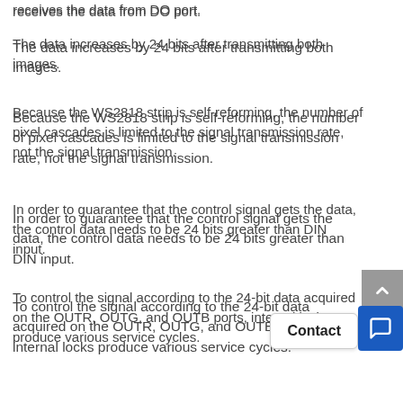receives the data from DO port.
The data increases by 24 bits after transmitting both images.
Because the WS2818 strip is self-reforming, the number of pixel cascades is limited to the signal transmission rate, not the signal transmission.
In order to guarantee that the control signal gets the data, the control data needs to be 24 bits greater than DIN input.
To control the signal according to the 24-bit data acquired on the OUTR, OUTG, and OUTB ports, internal locks produce various service cycles.
At the point when the DIN port information sources a reset signal, all sync chips send the got information on each line.
After the reset signal has halted, you can gather new information on the...